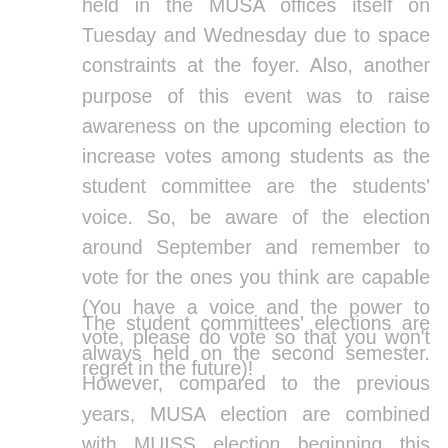held in the MUSA offices itself on Tuesday and Wednesday due to space constraints at the foyer. Also, another purpose of this event was to raise awareness on the upcoming election to increase votes among students as the student committee are the students' voice. So, be aware of the election around September and remember to vote for the ones you think are capable (You have a voice and the power to vote, please do vote so that you won't regret in the future)!
The student committees' elections are always held on the second semester. However, compared to the previous years, MUSA election are combined with MUISS election beginning this semester. This initiative was